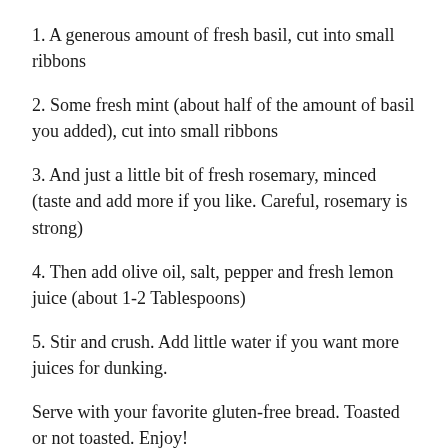1. A generous amount of fresh basil, cut into small ribbons
2. Some fresh mint (about half of the amount of basil you added), cut into small ribbons
3. And just a little bit of fresh rosemary, minced (taste and add more if you like. Careful, rosemary is strong)
4. Then add olive oil, salt, pepper and fresh lemon juice (about 1-2 Tablespoons)
5. Stir and crush. Add little water if you want more juices for dunking.
Serve with your favorite gluten-free bread. Toasted or not toasted. Enjoy!